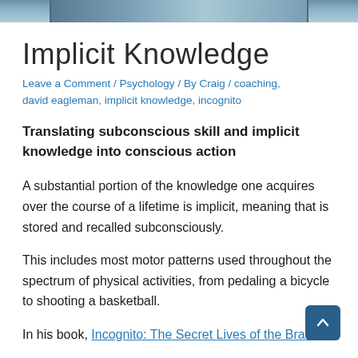[Figure (photo): Partial photo strip at top of page, showing a blurred outdoor or desk scene in blue-grey tones]
Implicit Knowledge
Leave a Comment / Psychology / By Craig / coaching, david eagleman, implicit knowledge, incognito
Translating subconscious skill and implicit knowledge into conscious action
A substantial portion of the knowledge one acquires over the course of a lifetime is implicit, meaning that is stored and recalled subconsciously.
This includes most motor patterns used throughout the spectrum of physical activities, from pedaling a bicycle to shooting a basketball.
In his book, Incognito: The Secret Lives of the Brain,